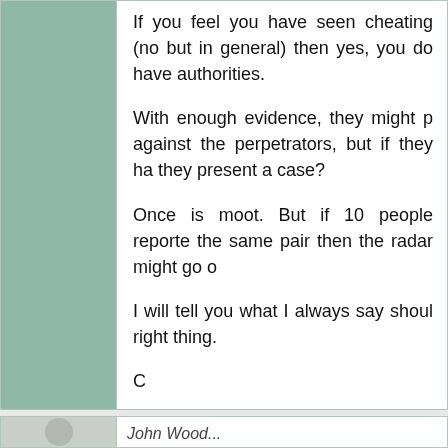We all have an obligation to keep the g...
If you feel you have seen cheating (no... but in general) then yes, you do have... authorities.
With enough evidence, they might p... against the perpetrators, but if they ha... they present a case?
Once is moot. But if 10 people reporte... the same pair then the radar might go o...
I will tell you what I always say shoul... right thing.
C
John Wood...